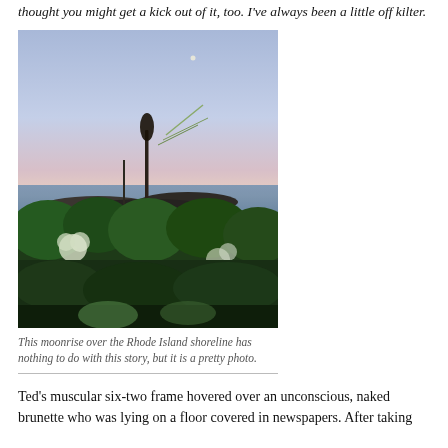thought you might get a kick out of it, too. I've always been a little off kilter.
[Figure (photo): A moonrise photograph over the Rhode Island shoreline at dusk, showing wildflowers and coastal vegetation in the foreground with the ocean and a pink-purple sky in the background.]
This moonrise over the Rhode Island shoreline has nothing to do with this story, but it is a pretty photo.
Ted's muscular six-two frame hovered over an unconscious, naked brunette who was lying on a floor covered in newspapers. After taking